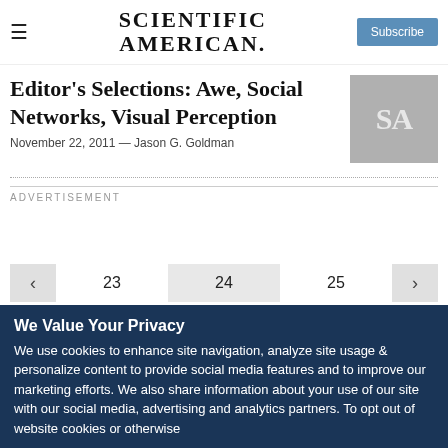SCIENTIFIC AMERICAN
Editor's Selections: Awe, Social Networks, Visual Perception
November 22, 2011 — Jason G. Goldman
ADVERTISEMENT
23  24  25
We Value Your Privacy
We use cookies to enhance site navigation, analyze site usage & personalize content to provide social media features and to improve our marketing efforts. We also share information about your use of our site with our social media, advertising and analytics partners. To opt out of website cookies or otherwise